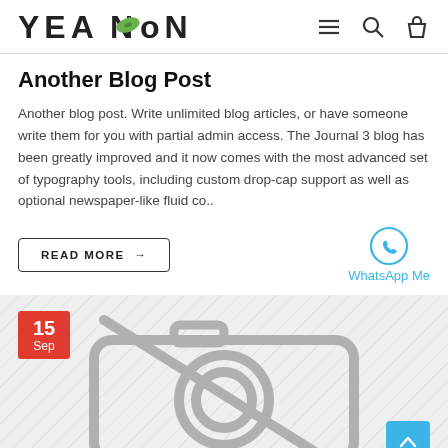YEAMON
Another Blog Post
Another blog post. Write unlimited blog articles, or have someone write them for you with partial admin access. The Journal 3 blog has been greatly improved and it now comes with the most advanced set of typography tools, including custom drop-cap support as well as optional newspaper-like fluid co..
READ MORE →
WhatsApp Me
[Figure (illustration): No-image placeholder with a camera icon crossed out, shown on a diagonal-stripe background. A red date badge shows '15 Sep' in the top-left corner. A teal back-to-top arrow button is in the bottom-right.]